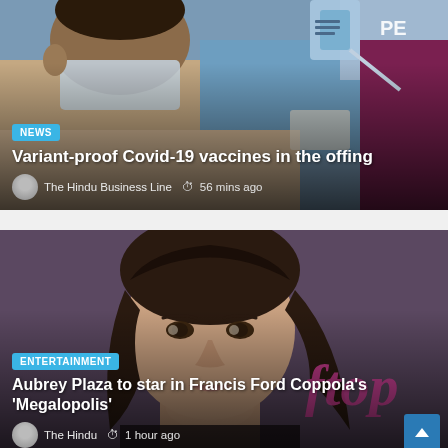[Figure (photo): News article card showing a person receiving a Covid-19 vaccination injection from a healthcare worker in a blue uniform, with another worker in maroon PPE visible at right. Badge reads NEWS. Headline: Variant-proof Covid-19 vaccines in the offing. Source: The Hindu Business Line, 56 mins ago.]
[Figure (photo): Entertainment article card showing a close-up portrait of Aubrey Plaza, a woman with brown wavy hair and a subtle smile, against a purple/maroon background with partial 'ftop' text watermark. Badge reads ENTERTAINMENT. Headline: Aubrey Plaza to star in Francis Ford Coppola's 'Megalopolis'. Source: The Hindu, 1 hour ago.]